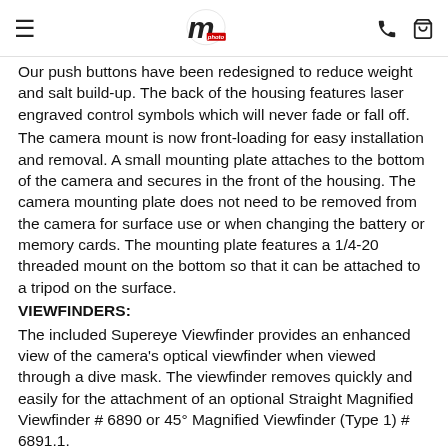m photo
Our push buttons have been redesigned to reduce weight and salt build-up. The back of the housing features laser engraved control symbols which will never fade or fall off.
The camera mount is now front-loading for easy installation and removal. A small mounting plate attaches to the bottom of the camera and secures in the front of the housing. The camera mounting plate does not need to be removed from the camera for surface use or when changing the battery or memory cards. The mounting plate features a 1/4-20 threaded mount on the bottom so that it can be attached to a tripod on the surface.
VIEWFINDERS:
The included Supereye Viewfinder provides an enhanced view of the camera's optical viewfinder when viewed through a dive mask. The viewfinder removes quickly and easily for the attachment of an optional Straight Magnified Viewfinder # 6890 or 45° Magnified Viewfinder (Type 1) # 6891.1.
HANDLING & TRAVEL:
Overall the housing is over 1/2 pound lighter than a typical FL counterpart. Our new hard anodized aluminum base with quick